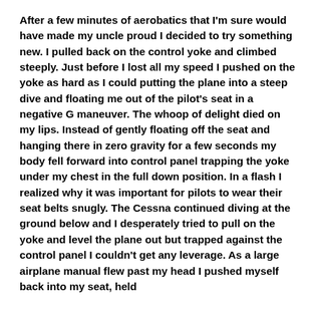After a few minutes of aerobatics that I'm sure would have made my uncle proud I decided to try something new. I pulled back on the control yoke and climbed steeply. Just before I lost all my speed I pushed on the yoke as hard as I could putting the plane into a steep dive and floating me out of the pilot's seat in a negative G maneuver. The whoop of delight died on my lips. Instead of gently floating off the seat and hanging there in zero gravity for a few seconds my body fell forward into control panel trapping the yoke under my chest in the full down position. In a flash I realized why it was important for pilots to wear their seat belts snugly. The Cessna continued diving at the ground below and I desperately tried to pull on the yoke and level the plane out but trapped against the control panel I couldn't get any leverage. As a large airplane manual flew past my head I pushed myself back into my seat, held